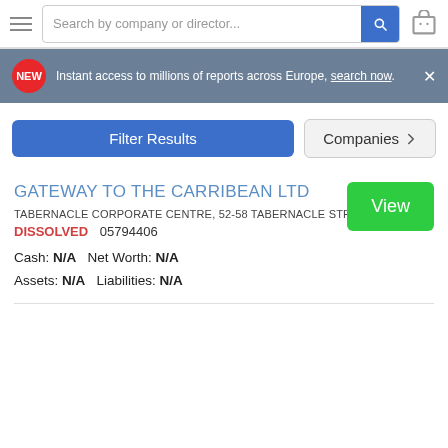[Figure (screenshot): Website navigation bar with hamburger menu, search box reading 'Search by company or director...', blue search button, and cart icon]
NEW  Instant access to millions of reports across Europe, search now.  ×
Filter Results   Companies ▶
GATEWAY TO THE CARRIBEAN LTD
TABERNACLE CORPORATE CENTRE, 52-58 TABERNACLE STREET, LONDON,
DISSOLVED  05794406
Cash: N/A   Net Worth: N/A
Assets: N/A   Liabilities: N/A